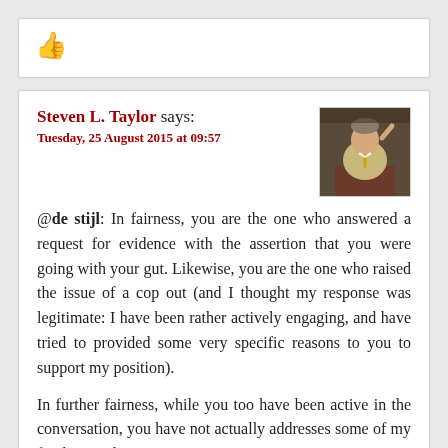[Figure (other): Thumbs up icon in dark red/crimson color]
Steven L. Taylor says:
Tuesday, 25 August 2015 at 09:57
[Figure (photo): Avatar photo of Steven L. Taylor, a man speaking at a podium]
@de stijl: In fairness, you are the one who answered a request for evidence with the assertion that you were going with your gut. Likewise, you are the one who raised the issue of a cop out (and I thought my response was legitimate: I have been rather actively engaging, and have tried to provided some very specific reasons to you to support my position).
In further fairness, while you too have been active in the conversation, you have not actually addresses some of my fundamental points.
For example: